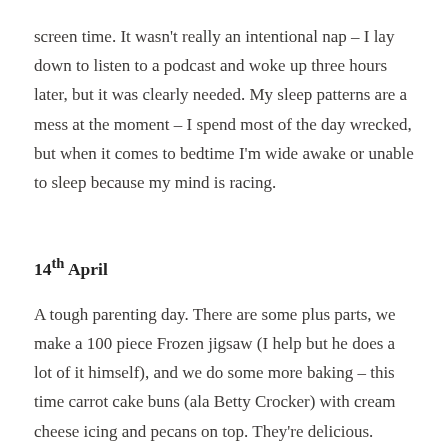screen time. It wasn't really an intentional nap – I lay down to listen to a podcast and woke up three hours later, but it was clearly needed. My sleep patterns are a mess at the moment – I spend most of the day wrecked, but when it comes to bedtime I'm wide awake or unable to sleep because my mind is racing.
14th April
A tough parenting day. There are some plus parts, we make a 100 piece Frozen jigsaw (I help but he does a lot of it himself), and we do some more baking – this time carrot cake buns (ala Betty Crocker) with cream cheese icing and pecans on top. They're delicious. However, there's also a lot of screaming, a lot of refusing to do as he's told, refusal to do suggested activities, and